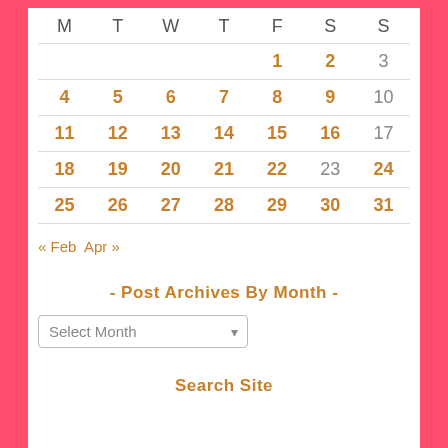| M | T | W | T | F | S | S |
| --- | --- | --- | --- | --- | --- | --- |
|  |  |  |  | 1 | 2 | 3 |
| 4 | 5 | 6 | 7 | 8 | 9 | 10 |
| 11 | 12 | 13 | 14 | 15 | 16 | 17 |
| 18 | 19 | 20 | 21 | 22 | 23 | 24 |
| 25 | 26 | 27 | 28 | 29 | 30 | 31 |
« Feb  Apr »
- Post Archives By Month -
Select Month
Search Site